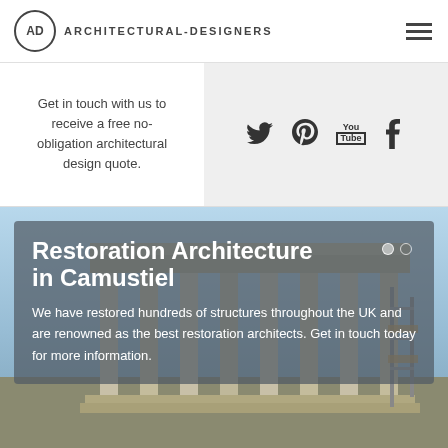ARCHITECTURAL-DESIGNERS
Get in touch with us to receive a free no-obligation architectural design quote.
[Figure (infographic): Social media icons: Twitter (bird), Pinterest, YouTube, Tumblr]
Restoration Architecture in Camustiel
We have restored hundreds of structures throughout the UK and are renowned as the best restoration architects. Get in touch today for more information.